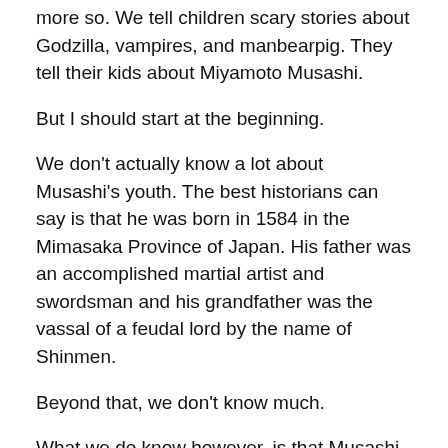more so. We tell children scary stories about Godzilla, vampires, and manbearpig. They tell their kids about Miyamoto Musashi.
But I should start at the beginning.
We don't actually know a lot about Musashi's youth. The best historians can say is that he was born in 1584 in the Mimasaka Province of Japan. His father was an accomplished martial artist and swordsman and his grandfather was the vassal of a feudal lord by the name of Shinmen.
Beyond that, we don't know much.
What we do know however, is that Musashi was one precocious motherfucker. How so you ask? Well, he killed a man at age 13. In a duel.